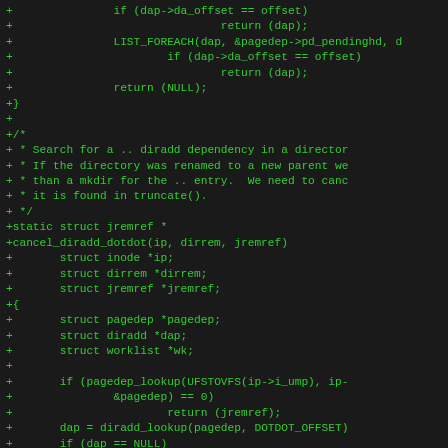[Figure (screenshot): Source code diff snippet showing C code additions for cancel_diradd_dotdot function and related helper code, displayed in green monospace font on dark background]